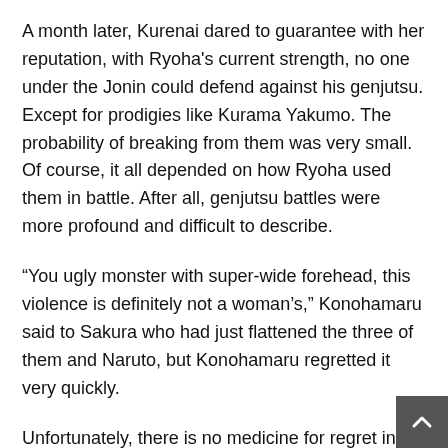A month later, Kurenai dared to guarantee with her reputation, with Ryoha's current strength, no one under the Jonin could defend against his genjutsu. Except for prodigies like Kurama Yakumo. The probability of breaking from them was very small. Of course, it all depended on how Ryoha used them in battle. After all, genjutsu battles were more profound and difficult to describe.
“You ugly monster with super-wide forehead, this violence is definitely not a woman’s,” Konohamaru said to Sakura who had just flattened the three of them and Naruto, but Konohamaru regretted it very quickly.
Unfortunately, there is no medicine for regret in this world. At the same time, he also remembered a word in his life...